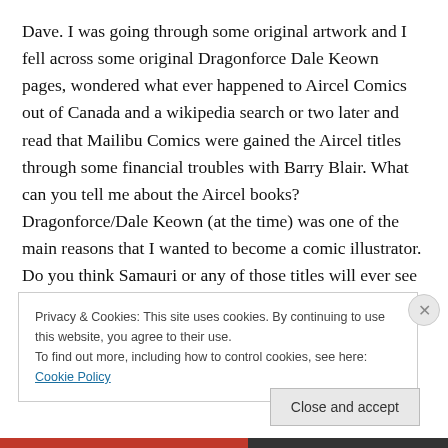Dave. I was going through some original artwork and I fell across some original Dragonforce Dale Keown pages, wondered what ever happened to Aircel Comics out of Canada and a wikipedia search or two later and read that Mailibu Comics were gained the Aircel titles through some financial troubles with Barry Blair. What can you tell me about the Aircel books? Dragonforce/Dale Keown (at the time) was one of the main reasons that I wanted to become a comic illustrator. Do you think Samauri or any of those titles will ever see daylight again?
Privacy & Cookies: This site uses cookies. By continuing to use this website, you agree to their use.
To find out more, including how to control cookies, see here: Cookie Policy